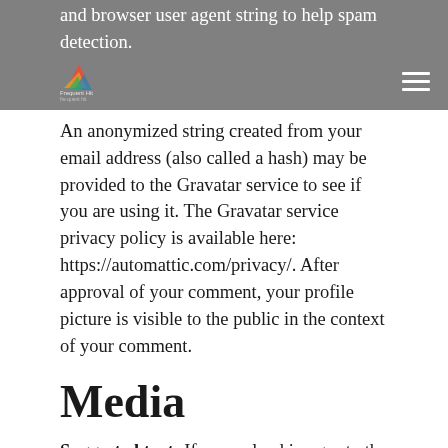and browser user agent string to help spam detection.
An anonymized string created from your email address (also called a hash) may be provided to the Gravatar service to see if you are using it. The Gravatar service privacy policy is available here: https://automattic.com/privacy/. After approval of your comment, your profile picture is visible to the public in the context of your comment.
Media
Suggested text: If you upload images to the website, you should avoid uploading images with embedded location data (EXIF GPS) included. Visitors to the website can download and extract